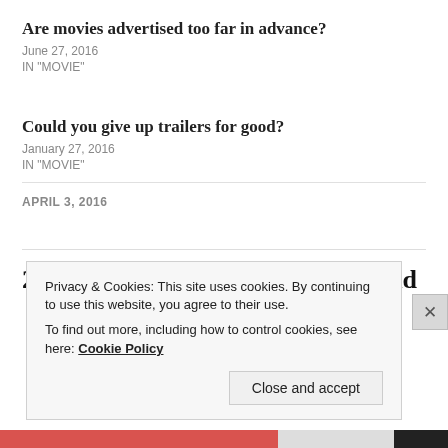Are movies advertised too far in advance?
June 27, 2016
IN "MOVIE"
Could you give up trailers for good?
January 27, 2016
IN "MOVIE"
APRIL 3, 2016
2 thoughts on “Why the Cloverfield
Privacy & Cookies: This site uses cookies. By continuing to use this website, you agree to their use. To find out more, including how to control cookies, see here: Cookie Policy
Close and accept